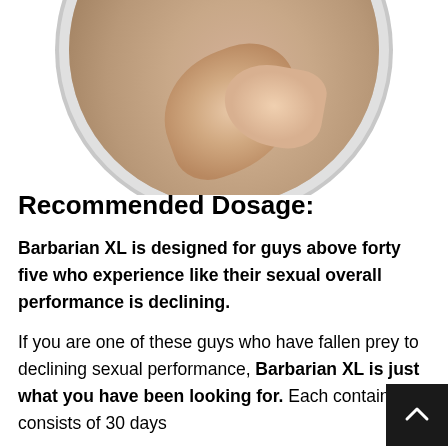[Figure (photo): Circular cropped photo with decorative border showing a close-up of human skin/body, rendered in sepia/grayscale tones]
Recommended Dosage:
Barbarian XL is designed for guys above forty five who experience like their sexual overall performance is declining.
If you are one of these guys who have fallen prey to declining sexual performance, Barbarian XL is just what you have been looking for. Each container consists of 30 days